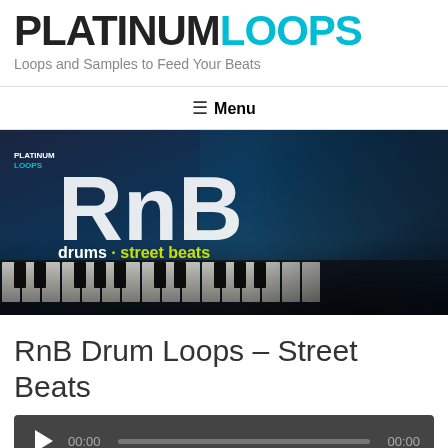PLATINUM LOOPS - Loops and Samples to Feed Your Beats
≡ Menu
[Figure (illustration): RnB Drums Street Beats promotional banner with dark blue studio background, keyboard in foreground, drummer silhouette on right, Platinum Loops logo top left, large RnB text, subtitle 'drums · street beats']
RnB Drum Loops – Street Beats
[Figure (other): Audio player with play button, 00:00 start time, progress bar, 00:00 end time on dark background]